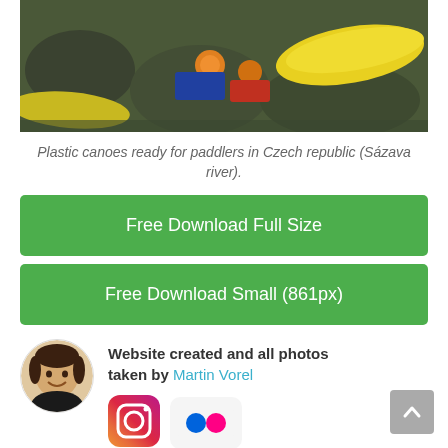[Figure (photo): Aerial view of plastic canoes and paddlers on rocky riverbank, Czech republic Sázava river]
Plastic canoes ready for paddlers in Czech republic (Sázava river).
Free Download Full Size
Free Download Small (861px)
Website created and all photos taken by Martin Vorel
[Figure (photo): Circular avatar photo of Martin Vorel, a man smiling]
[Figure (logo): Instagram logo icon]
[Figure (logo): Flickr logo icon]
boats
yellow